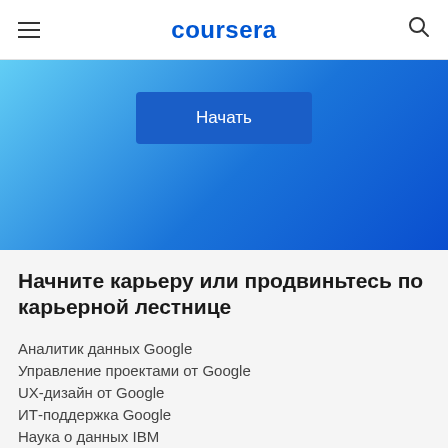coursera
[Figure (screenshot): Coursera hero banner with blue gradient background and a 'Начать' (Start) button]
Начните карьеру или продвиньтесь по карьерной лестнице
Аналитик данных Google
Управление проектами от Google
UX-дизайн от Google
ИТ-поддержка Google
Наука о данных IBM